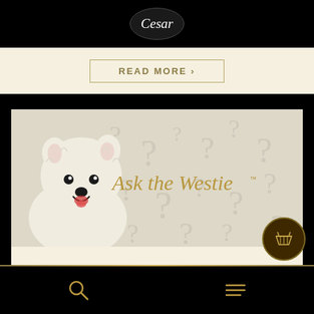[Figure (logo): Cesar dog food brand logo in white oval on black background]
READ MORE ›
[Figure (photo): Ask the Westie - white West Highland Terrier dog on decorative background with question marks]
I Found a Lost Dog. Now What?
Search and Menu navigation icons